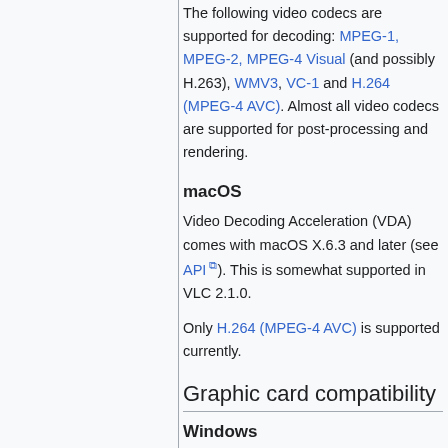The following video codecs are supported for decoding: MPEG-1, MPEG-2, MPEG-4 Visual (and possibly H.263), WMV3, VC-1 and H.264 (MPEG-4 AVC). Almost all video codecs are supported for post-processing and rendering.
macOS
Video Decoding Acceleration (VDA) comes with macOS X.6.3 and later (see API). This is somewhat supported in VLC 2.1.0.
Only H.264 (MPEG-4 AVC) is supported currently.
Graphic card compatibility
Windows
To do: how DxVA compatibility...